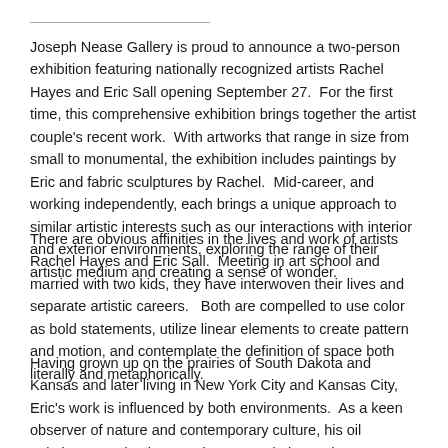Joseph Nease Gallery is proud to announce a two-person exhibition featuring nationally recognized artists Rachel Hayes and Eric Sall opening September 27.  For the first time, this comprehensive exhibition brings together the artist couple's recent work.  With artworks that range in size from small to monumental, the exhibition includes paintings by Eric and fabric sculptures by Rachel.  Mid-career, and working independently, each brings a unique approach to similar artistic interests such as our interactions with interior and exterior environments, exploring the range of their artistic medium and creating a sense of wonder.
There are obvious affinities in the lives and work of artists Rachel Hayes and Eric Sall.  Meeting in art school and married with two kids, they have interwoven their lives and separate artistic careers.   Both are compelled to use color as bold statements, utilize linear elements to create pattern and motion, and contemplate the definition of space both literally and metaphorically.
Having grown up on the prairies of South Dakota and Kansas and later living in New York City and Kansas City, Eric's work is influenced by both environments.  As a keen observer of nature and contemporary culture, his oil paintings are simultaneously contemplative and audacious.